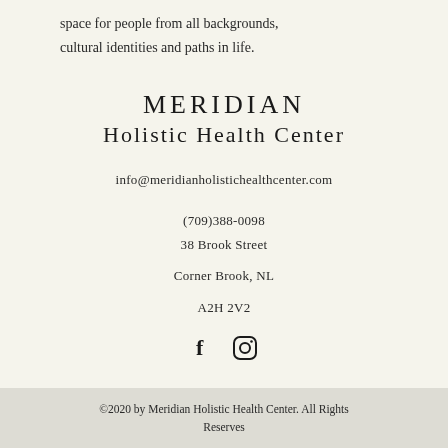space for people from all backgrounds, cultural identities and paths in life.
MERIDIAN
Holistic Health Center
info@meridianholistichealthcenter.com
(709)388-0098
38 Brook Street
Corner Brook, NL
A2H 2V2
[Figure (illustration): Social media icons: Facebook (f) and Instagram (circle with square inside)]
©2020 by Meridian Holistic Health Center. All Rights Reserves